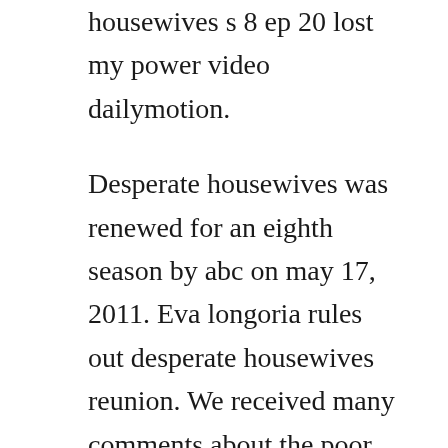housewives s 8 ep 20 lost my power video dailymotion.
Desperate housewives was renewed for an eighth season by abc on may 17, 2011. Eva longoria rules out desperate housewives reunion. We received many comments about the poor quality of this episode and have decided to replace it for yall to enjoy. Legend of the seeker saison 1 french megaupload series. The major characters of the american tv series desperate housewives season 8 are four middleaged women, whose main vocation and even profession is. Josh moore